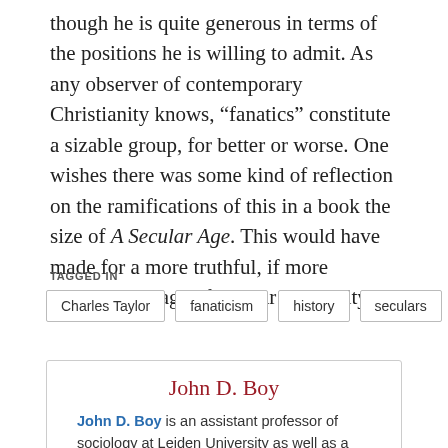though he is quite generous in terms of the positions he is willing to admit. As any observer of contemporary Christianity knows, “fanatics” constitute a sizable group, for better or worse. One wishes there was some kind of reflection on the ramifications of this in a book the size of A Secular Age. This would have made for a more truthful, if more troubling, image of secular modernity.
TAGGED IN
Charles Taylor
fanaticism
history
seculars
John D. Boy
John D. Boy is an assistant professor of sociology at Leiden University as well as a contributing editor at The